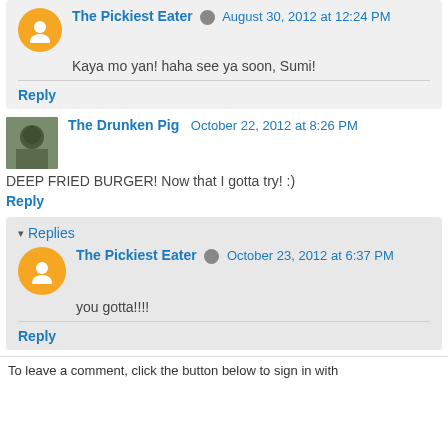The Pickiest Eater [edit] August 30, 2012 at 12:24 PM
Kaya mo yan! haha see ya soon, Sumi!
Reply
The Drunken Pig  October 22, 2012 at 8:26 PM
DEEP FRIED BURGER! Now that I gotta try! :)
Reply
Replies
The Pickiest Eater [edit] October 23, 2012 at 6:37 PM
you gotta!!!!
Reply
To leave a comment, click the button below to sign in with